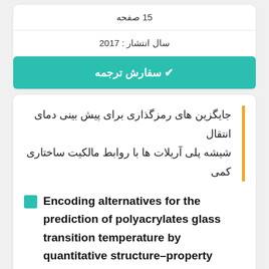15 صفحه
سال انتشار : 2017
✔ سفارش ترجمه
جایگزین های رمزگذاری برای پیش بینی دمای انتقال شیشه پلی آریلات ها با روابط مالکیت ساختاری کمی
Encoding alternatives for the prediction of polyacrylates glass transition temperature by quantitative structure–property relationships